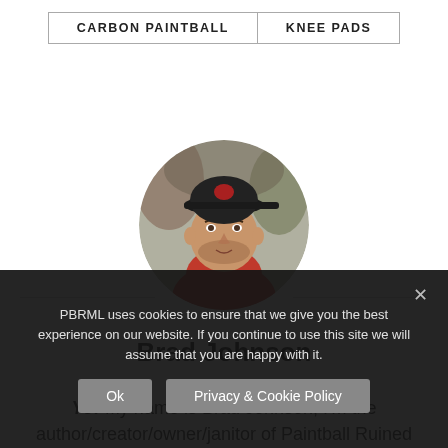CARBON PAINTBALL | KNEE PADS
[Figure (photo): Circular profile photo of Brad Johnson, a man wearing a black cap and red shirt]
Brad Johnson
Yo! My name is Brad Johnson, I'm the author/creator/owner/janitor of Paintball Ruined My Life. I've been working in the paintball industry for over 18
PBRML uses cookies to ensure that we give you the best experience on our website. If you continue to use this site we will assume that you are happy with it.
Ok | Privacy & Cookie Policy